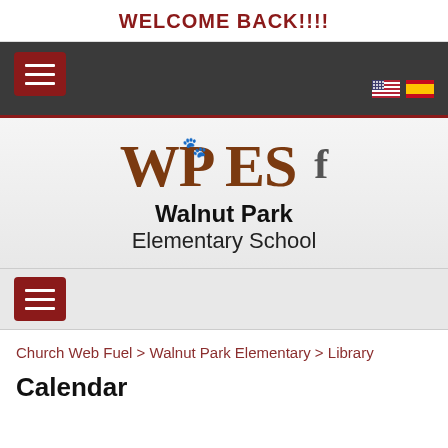WELCOME BACK!!!!
[Figure (screenshot): Dark navigation bar with hamburger menu button (dark red) on left and two flag icons (US, Spain) on right]
[Figure (logo): WPES Walnut Park Elementary School logo with paw print in P and Facebook icon]
[Figure (screenshot): Secondary navigation bar with dark red hamburger menu button]
Church Web Fuel > Walnut Park Elementary > Library
Calendar